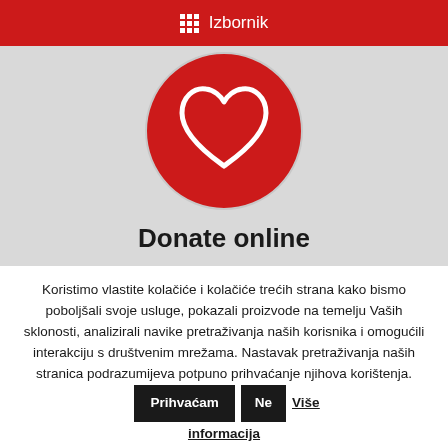Izbornik
[Figure (illustration): Red circle with white heart outline icon on a light grey background, above the text 'Donate online']
Donate online
Koristimo vlastite kolačiće i kolačiće trećih strana kako bismo poboljšali svoje usluge, pokazali proizvode na temelju Vaših sklonosti, analizirali navike pretraživanja naših korisnika i omogućili interakciju s društvenim mrežama. Nastavak pretraživanja naših stranica podrazumijeva potpuno prihvaćanje njihova korištenja.
Prihvaćam | Ne | Više informacija